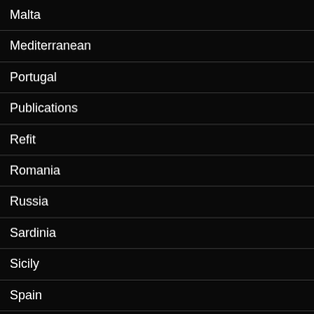Malta
Mediterranean
Portugal
Publications
Refit
Romania
Russia
Sardinia
Sicily
Spain
Tunisia
Turkey (Black Sea)
Turkey (Marmaris)